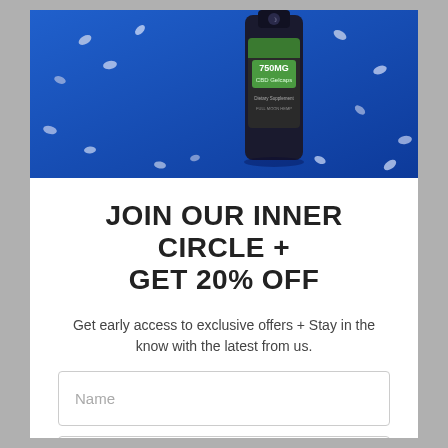[Figure (photo): CBD product photo: a dark bottle labeled '750MG CBD Gelcaps' from Full Moon Hemp on a blue background with gel capsules scattered around it.]
JOIN OUR INNER CIRCLE + GET 20% OFF
Get early access to exclusive offers + Stay in the know with the latest from us.
Name
Email
JOIN THE LIST